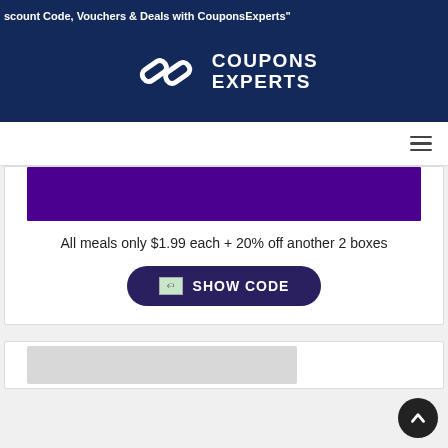scount Code, Vouchers & Deals with CouponsExperts"
[Figure (logo): CouponsExperts logo with chain-link icon and text COUPONS EXPERTS in white on dark navy background]
All meals only $1.99 each + 20% off another 2 boxes
[Figure (other): Show Code button with dashed border and COUPON-ICON placeholder on dark blue background]